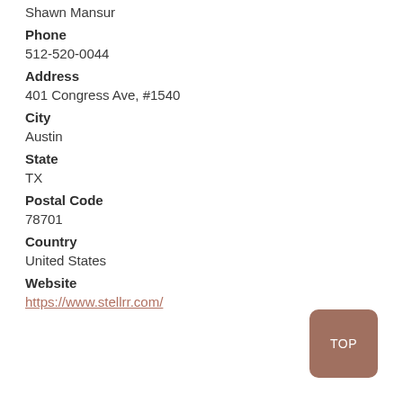Shawn Mansur
Phone
512-520-0044
Address
401 Congress Ave, #1540
City
Austin
State
TX
Postal Code
78701
Country
United States
Website
https://www.stellrr.com/